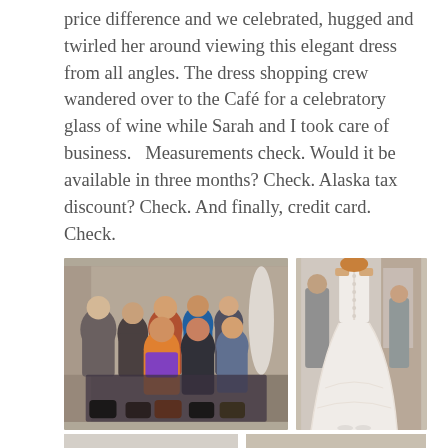price difference and we celebrated, hugged and twirled her around viewing this elegant dress from all angles. The dress shopping crew wandered over to the Café for a celebratory glass of wine while Sarah and I took care of business.   Measurements check. Would it be available in three months? Check. Alaska tax discount? Check. And finally, credit card. Check.
[Figure (photo): Group photo of approximately 8-9 women posing together indoors in what appears to be a bridal shop or boutique.]
[Figure (photo): Photo of a woman in a white wedding dress viewed from behind, showing the back detail of the gown, with another person standing nearby.]
[Figure (photo): Partial photo visible at bottom of page, appears to show interior of a room.]
[Figure (photo): Partial photo visible at bottom of page, appears to show a person with light hair.]